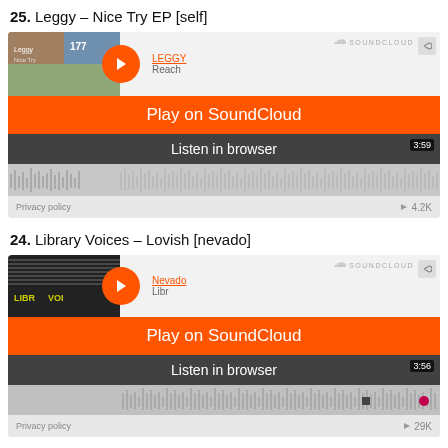25. Leggy – Nice Try EP [self]
[Figure (screenshot): SoundCloud embed player for Leggy – Nice Try EP with Play on SoundCloud button and Listen in browser option, showing 3:59 duration and 4.2K plays]
24. Library Voices – Lovish [nevado]
[Figure (screenshot): SoundCloud embed player for Library Voices – Lovish (Nevado label) with Play on SoundCloud button and Listen in browser option, showing 3:56 duration and 29K plays]